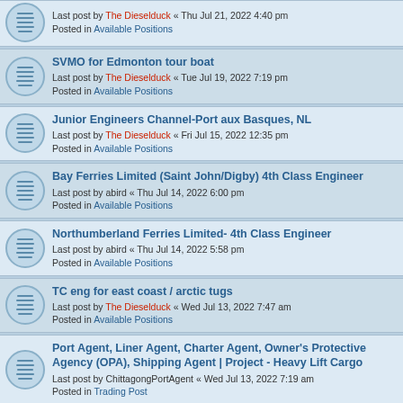Last post by The Dieselduck « Thu Jul 21, 2022 4:40 pm
Posted in Available Positions
SVMO for Edmonton tour boat
Last post by The Dieselduck « Tue Jul 19, 2022 7:19 pm
Posted in Available Positions
Junior Engineers Channel-Port aux Basques, NL
Last post by The Dieselduck « Fri Jul 15, 2022 12:35 pm
Posted in Available Positions
Bay Ferries Limited (Saint John/Digby) 4th Class Engineer
Last post by abird « Thu Jul 14, 2022 6:00 pm
Posted in Available Positions
Northumberland Ferries Limited- 4th Class Engineer
Last post by abird « Thu Jul 14, 2022 5:58 pm
Posted in Available Positions
TC eng for east coast / arctic tugs
Last post by The Dieselduck « Wed Jul 13, 2022 7:47 am
Posted in Available Positions
Port Agent, Liner Agent, Charter Agent, Owner's Protective Agency (OPA), Shipping Agent | Project - Heavy Lift Cargo
Last post by ChittagongPortAgent « Wed Jul 13, 2022 7:19 am
Posted in Trading Post
tc 3rd Cass for Ocean Group Dredge
Last post by The Dieselduck « Tue Jul 12, 2022 6:50 am
Posted in Available Positions
Assistant Maintenance Supervisor - Sbm Operations
Last post by The Dieselduck « Tue Jul 12, 2022 6:44 am
Posted in Available Positions